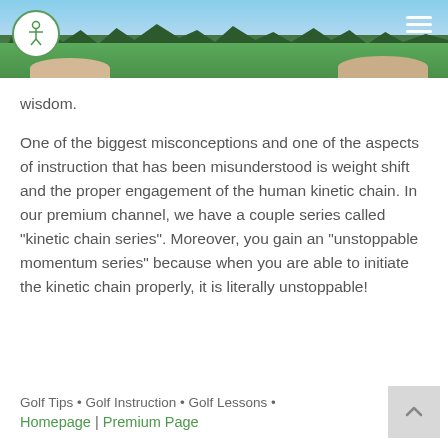[Figure (photo): Golf course header image showing green fairway, sand bunkers, and trees. Logo circle with human figure icon top-left. Hamburger menu icon top-right.]
wisdom.
One of the biggest misconceptions and one of the aspects of instruction that has been misunderstood is weight shift and the proper engagement of the human kinetic chain. In our premium channel, we have a couple series called “kinetic chain series”. Moreover, you gain an “unstoppable momentum series” because when you are able to initiate the kinetic chain properly, it is literally unstoppable!
Golf Tips • Golf Instruction • Golf Lessons • Homepage | Premium Page